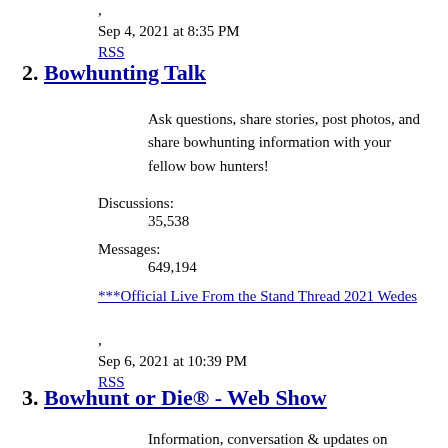,
Sep 4, 2021 at 8:35 PM
RSS
2. Bowhunting Talk
Ask questions, share stories, post photos, and share bowhunting information with your fellow bow hunters!
Discussions:
35,538
Messages:
649,194
***Official Live From the Stand Thread 2021
Wedes
,
Sep 6, 2021 at 10:39 PM
RSS
3. Bowhunt or Die® - Web Show
Information, conversation & updates on